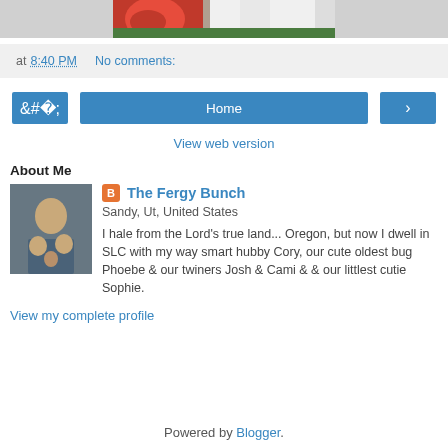[Figure (photo): Partial photo showing red rose and white fabric/clothing on green grass background]
at 8:40 PM   No comments:
‹   Home   ›
View web version
About Me
[Figure (photo): Family group photo with adults and children on steps in front of stone wall]
The Fergy Bunch
Sandy, Ut, United States
I hale from the Lord's true land... Oregon, but now I dwell in SLC with my way smart hubby Cory, our cute oldest bug Phoebe & our twiners Josh & Cami & & our littlest cutie Sophie.
View my complete profile
Powered by Blogger.